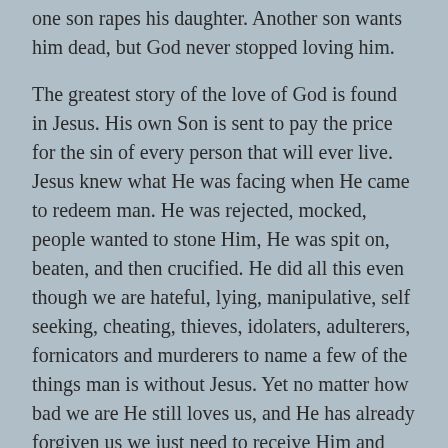one son rapes his daughter. Another son wants him dead, but God never stopped loving him.
The greatest story of the love of God is found in Jesus. His own Son is sent to pay the price for the sin of every person that will ever live. Jesus knew what He was facing when He came to redeem man. He was rejected, mocked, people wanted to stone Him, He was spit on, beaten, and then crucified. He did all this even though we are hateful, lying, manipulative, self seeking, cheating, thieves, idolaters, adulterers, fornicators and murderers to name a few of the things man is without Jesus. Yet no matter how bad we are He still loves us, and He has already forgiven us we just need to receive Him and His forgiveness.
John 3:16 (NKJV)  For God so loved the world that He gave His only begotten Son, that whoever believes in